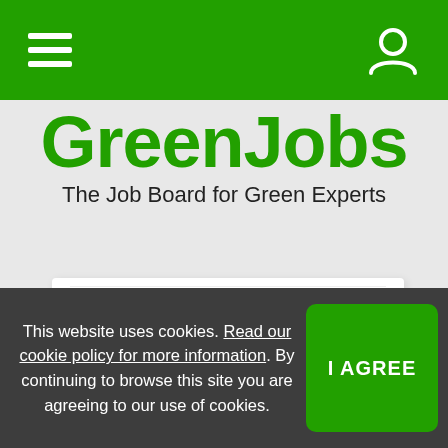GreenJobs navigation bar with hamburger menu and user icon
GreenJobs
The Job Board for Green Experts
Ecological Consultant (1)
Ecologist (1)
More Options
REGION
This website uses cookies. Read our cookie policy for more information. By continuing to browse this site you are agreeing to our use of cookies.
I AGREE